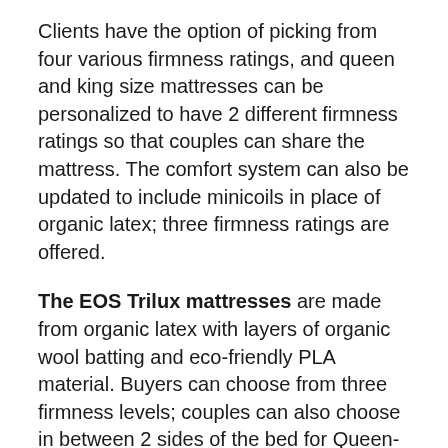Clients have the option of picking from four various firmness ratings, and queen and king size mattresses can be personalized to have 2 different firmness ratings so that couples can share the mattress. The comfort system can also be updated to include minicoils in place of organic latex; three firmness ratings are offered.
The EOS Trilux mattresses are made from organic latex with layers of organic wool batting and eco-friendly PLA material. Buyers can choose from three firmness levels; couples can also choose in between 2 sides of the bed for Queen- and King-size models.
The EOS Pillowtop has two layers of organic latex in the comfort system and